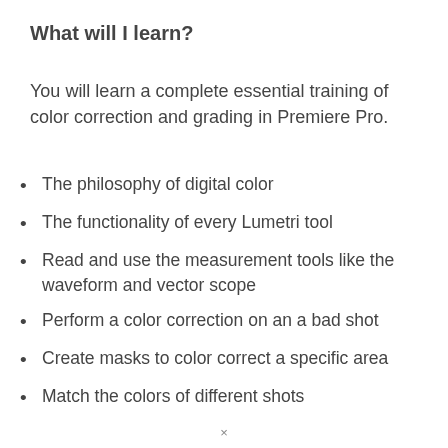What will I learn?
You will learn a complete essential training of color correction and grading in Premiere Pro.
The philosophy of digital color
The functionality of every Lumetri tool
Read and use the measurement tools like the waveform and vector scope
Perform a color correction on an a bad shot
Create masks to color correct a specific area
Match the colors of different shots
×